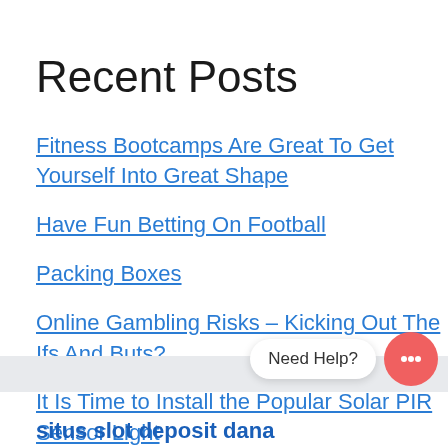Recent Posts
Fitness Bootcamps Are Great To Get Yourself Into Great Shape
Have Fun Betting On Football
Packing Boxes
Online Gambling Risks – Kicking Out The Ifs And Buts?
It Is Time to Install the Popular Solar PIR Sensor Light
situs slot deposit dana